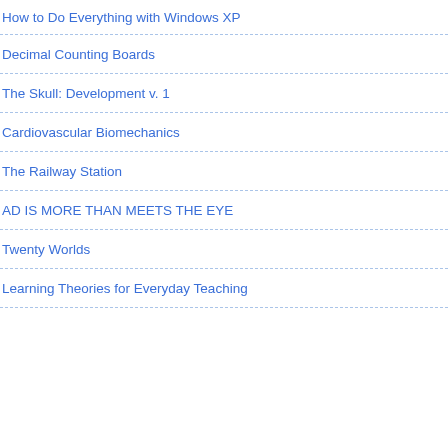How to Do Everything with Windows XP
Decimal Counting Boards
The Skull: Development v. 1
Cardiovascular Biomechanics
The Railway Station
AD IS MORE THAN MEETS THE EYE
Twenty Worlds
Learning Theories for Everyday Teaching